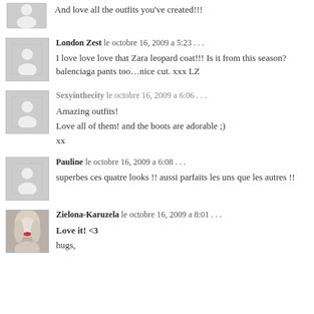And love all the outfits you've created!!!
London Zest le octobre 16, 2009 a 5:23 . . .
I love love love that Zara leopard coat!!! Is it from this season? balenciaga pants too…nice cut. xxx LZ
Sexyinthecity le octobre 16, 2009 a 6:06 . . .
Amazing outfits!
Love all of them! and the boots are adorable ;)
xx
Pauline le octobre 16, 2009 a 6:08 . . .
superbes ces quatre looks !! aussi parfaits les uns que les autres !!
Zielona-Karuzela le octobre 16, 2009 a 8:01 . . .
Love it! <3
hugs,